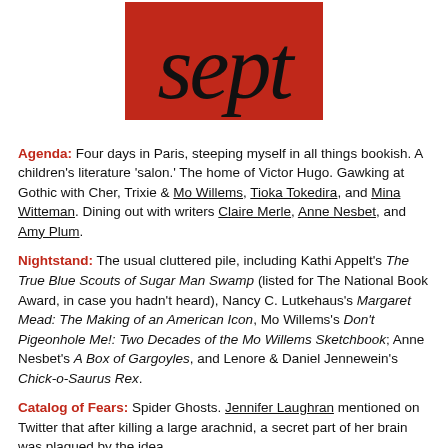[Figure (illustration): Red square with the word 'sept' written in large black italic script font]
Agenda: Four days in Paris, steeping myself in all things bookish. A children's literature 'salon.' The home of Victor Hugo. Gawking at Gothic with Cher, Trixie & Mo Willems, Tioka Tokedira, and Mina Witteman. Dining out with writers Claire Merle, Anne Nesbet, and Amy Plum.
Nightstand: The usual cluttered pile, including Kathi Appelt's The True Blue Scouts of Sugar Man Swamp (listed for The National Book Award, in case you hadn't heard), Nancy C. Lutkehaus's Margaret Mead: The Making of an American Icon, Mo Willems's Don't Pigeonhole Me!: Two Decades of the Mo Willems Sketchbook; Anne Nesbet's A Box of Gargoyles, and Lenore & Daniel Jennewein's Chick-o-Saurus Rex.
Catalog of Fears: Spider Ghosts. Jennifer Laughran mentioned on Twitter that after killing a large arachnid, a secret part of her brain was plagued by the idea